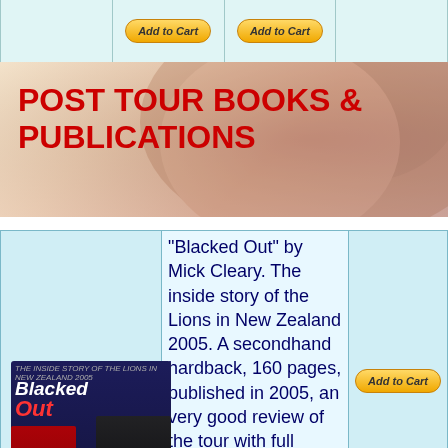[Figure (screenshot): Top strip with Add to Cart buttons in a grid layout, light blue background cells]
[Figure (photo): Rugby banner background showing players in action, warm beige/red tones]
POST TOUR BOOKS & PUBLICATIONS
[Figure (photo): Book cover of Blacked Out by Mick Cleary showing Lions vs All Blacks rugby players]
"Blacked Out" by Mick Cleary. The inside story of the Lions in New Zealand 2005. A secondhand hardback, 160 pages, published in 2005, an very good review of the tour with full statistical analysis.
Ref: bkbr25